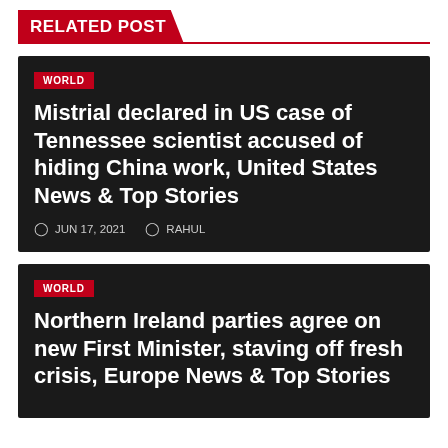RELATED POST
WORLD
Mistrial declared in US case of Tennessee scientist accused of hiding China work, United States News & Top Stories
JUN 17, 2021  RAHUL
WORLD
Northern Ireland parties agree on new First Minister, staving off fresh crisis, Europe News & Top Stories